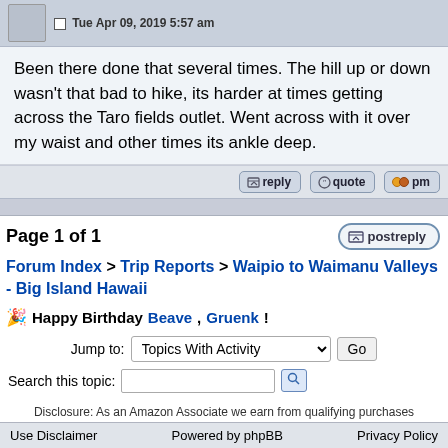Tue Apr 09, 2019 5:57 am
Been there done that several times. The hill up or down wasn't that bad to hike, its harder at times getting across the Taro fields outlet. Went across with it over my waist and other times its ankle deep.
Page 1 of 1
Forum Index > Trip Reports > Waipio to Waimanu Valleys - Big Island Hawaii
🎉 Happy Birthday Beave, Gruenk!
Jump to: Topics With Activity  Go
Search this topic:
Disclosure: As an Amazon Associate we earn from qualifying purchases when you use our link(s).
Use Disclaimer    Powered by phpBB    Privacy Policy